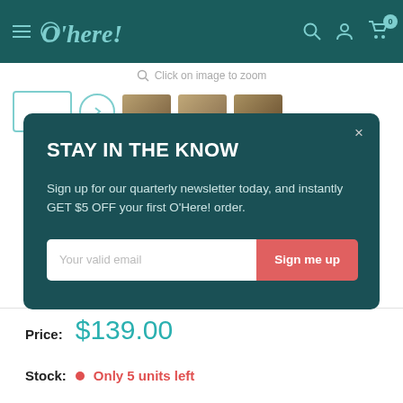O'here! — Navigation bar with logo, search, account, and cart icons
Click on image to zoom
[Figure (screenshot): Newsletter signup modal overlay on an e-commerce product page with title STAY IN THE KNOW, body text, email input, and Sign me up button]
Price: $139.00
Stock: Only 5 units left